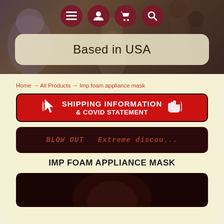[Figure (screenshot): Top horror-themed website banner with dark background showing monster/skull imagery]
Based in USA
Home → All Products → Imp foam appliance mask
[Figure (screenshot): Red banner with white bold text: SHIPPING INFORMATION & COVID STATEMENT with cursor and hand icons]
[Figure (screenshot): Dark red/brown banner with faint text: BLOW OUT Extreme discou...]
IMP FOAM APPLIANCE MASK
[Figure (photo): Dark product image area at the bottom, partially cut off]